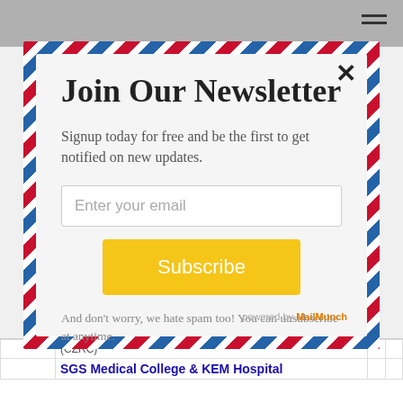Join Our Newsletter
Signup today for free and be the first to get notified on new updates.
Enter your email
Subscribe
And don't worry, we hate spam too! You can unsubscribe at anytime.
powered by MailMunch
SGS Medical College & KEM Hospital